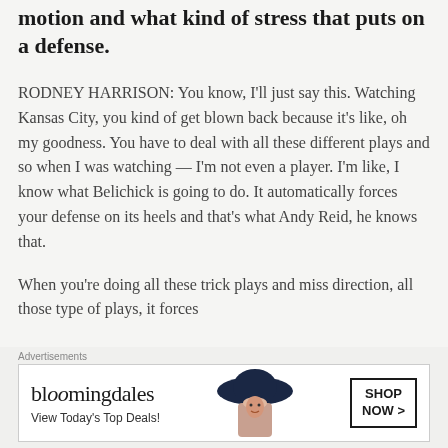motion and what kind of stress that puts on a defense.
RODNEY HARRISON: You know, I'll just say this. Watching Kansas City, you kind of get blown back because it's like, oh my goodness. You have to deal with all these different plays and so when I was watching — I'm not even a player. I'm like, I know what Belichick is going to do. It automatically forces your defense on its heels and that's what Andy Reid, he knows that.
When you're doing all these trick plays and miss direction, all those type of plays, it forces
Advertisements
[Figure (other): Bloomingdale's advertisement banner: 'bloomingdales / View Today's Top Deals!' with a woman wearing a large dark hat on the right, and a 'SHOP NOW >' button box.]